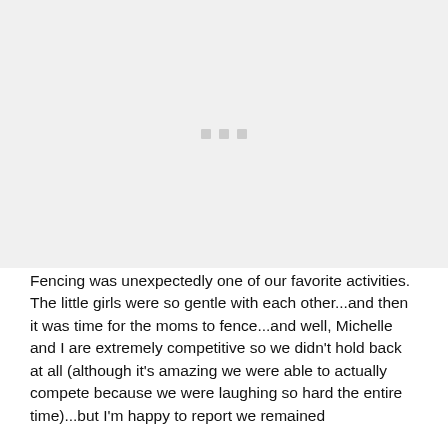[Figure (photo): A placeholder image area with three small gray squares centered, indicating an image that is loading or not displayed.]
Fencing was unexpectedly one of our favorite activities. The little girls were so gentle with each other...and then it was time for the moms to fence...and well, Michelle and I are extremely competitive so we didn't hold back at all (although it's amazing we were able to actually compete because we were laughing so hard the entire time)...but I'm happy to report we remained